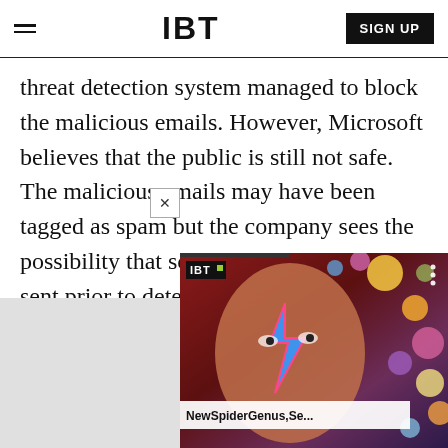IBT  SIGN UP
threat detection system managed to block the malicious emails. However, Microsoft believes that the public is still not safe. The malicious emails may have been tagged as spam but the company sees the possibility that some of the emails were sent prior to detection.
[Figure (screenshot): Video widget showing IBT logo, a colorful face with lightning bolt makeup surrounded by spheres, and title 'NewSpiderGenus,Se...']